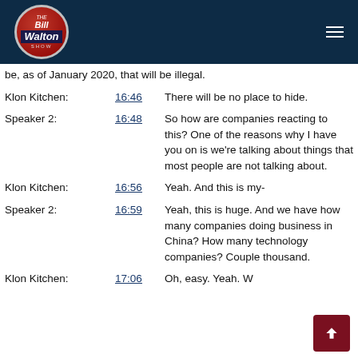The Bill Walton Show
be, as of January 2020, that will be illegal.
Klon Kitchen:   16:46   There will be no place to hide.
Speaker 2:   16:48   So how are companies reacting to this? One of the reasons why I have you on is we're talking about things that most people are not talking about.
Klon Kitchen:   16:56   Yeah. And this is my-
Speaker 2:   16:59   Yeah, this is huge. And we have how many companies doing business in China? How many technology companies? Couple thousand.
Klon Kitchen:   17:06   Oh, easy. Yeah. W